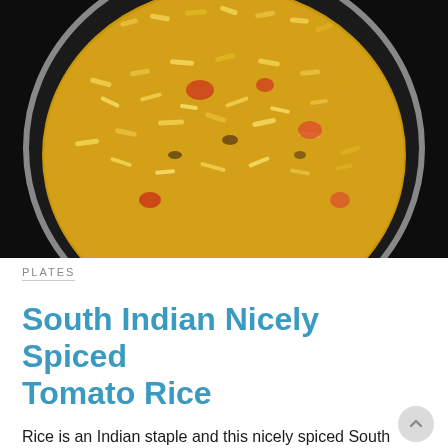[Figure (photo): Overhead photo of a large dark pan filled with South Indian tomato rice — yellow/golden basmati rice mixed with pieces of tomato and spices, on a dark background.]
PLATES
South Indian Nicely Spiced Tomato Rice
Rice is an Indian staple and this nicely spiced South Indian recipe for tomato rice is endowed with